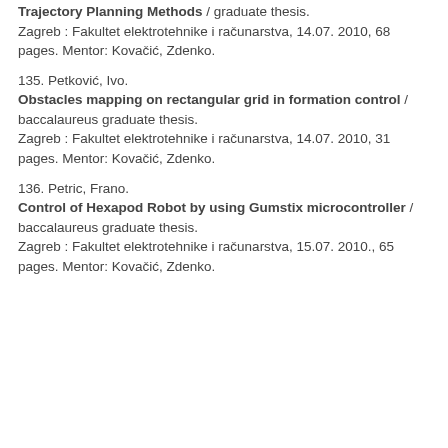Trajectory Planning Methods / graduate thesis. Zagreb : Fakultet elektrotehnike i računarstva, 14.07. 2010, 68 pages. Mentor: Kovačić, Zdenko.
135. Petković, Ivo. Obstacles mapping on rectangular grid in formation control / baccalaureus graduate thesis. Zagreb : Fakultet elektrotehnike i računarstva, 14.07. 2010, 31 pages. Mentor: Kovačić, Zdenko.
136. Petric, Frano. Control of Hexapod Robot by using Gumstix microcontroller / baccalaureus graduate thesis. Zagreb : Fakultet elektrotehnike i računarstva, 15.07. 2010., 65 pages. Mentor: Kovačić, Zdenko.